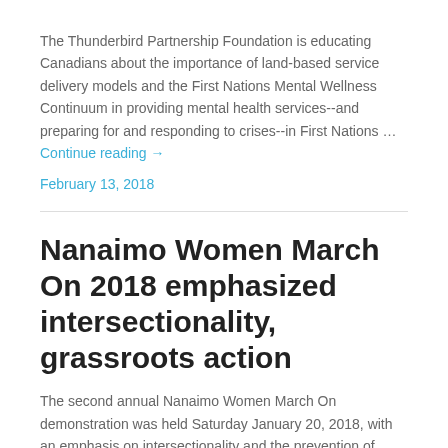The Thunderbird Partnership Foundation is educating Canadians about the importance of land-based service delivery models and the First Nations Mental Wellness Continuum in providing mental health services--and preparing for and responding to crises--in First Nations … Continue reading →
February 13, 2018
Nanaimo Women March On 2018 emphasized intersectionality, grassroots action
The second annual Nanaimo Women March On demonstration was held Saturday January 20, 2018, with an emphasis on intersectionality and the prevention of violence against women … Continue reading →
February 7, 2018